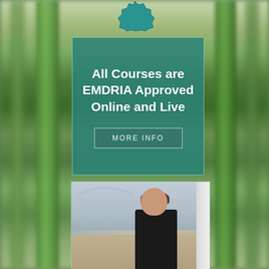[Figure (illustration): Teal decorative badge/seal partially visible at top center of page]
All Courses are EMDRIA Approved Online and Live
MORE INFO
[Figure (photo): Professional headshot photo of a middle-aged woman with short brown hair, wearing a black cardigan, smiling, with a scenic background showing clouds and a rainbow arc]